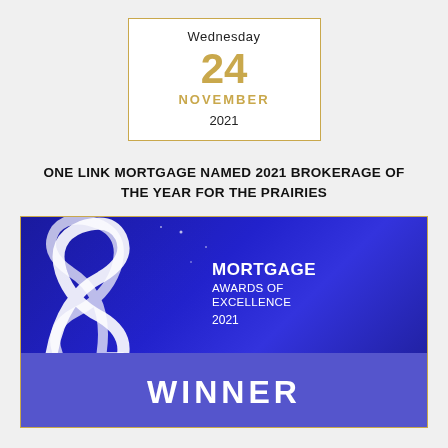[Figure (infographic): Date calendar box showing Wednesday 24 November 2021 with gold border]
ONE LINK MORTGAGE NAMED 2021 BROKERAGE OF THE YEAR FOR THE PRAIRIES
[Figure (photo): Mortgage Awards of Excellence 2021 banner with WINNER text on blue background with ribbon graphic]